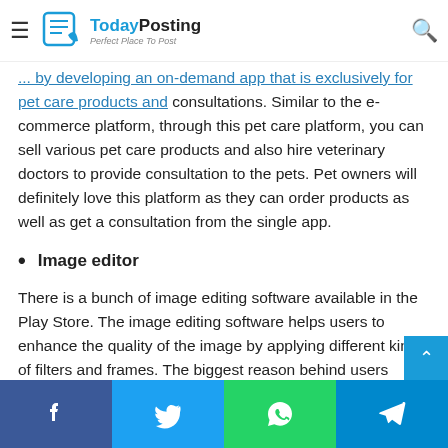TodayPosting — Perfect Place To Post
... by developing an on-demand app that is exclusively for pet care products and consultations. Similar to the e-commerce platform, through this pet care platform, you can sell various pet care products and also hire veterinary doctors to provide consultation to the pets. Pet owners will definitely love this platform as they can order products as well as get a consultation from the single app.
Image editor
There is a bunch of image editing software available in the Play Store. The image editing software helps users to enhance the quality of the image by applying different kinds of filters and frames. The biggest reason behind users preferring image editing apps is that they can upload their enhanced images
Facebook | Twitter | WhatsApp | Telegram